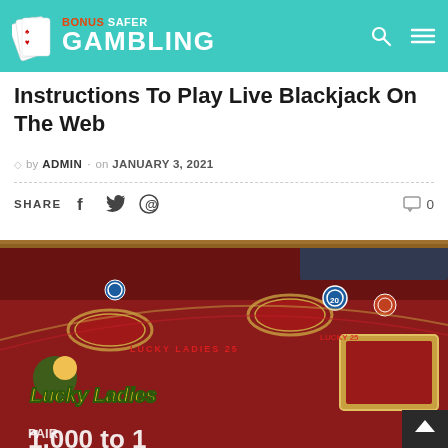BONUS SAFER GAMBLING
Instructions To Play Live Blackjack On The Web
by ADMIN on JANUARY 3, 2021
SHARE   f   t   P   0
[Figure (photo): Close-up photo of a red blackjack casino table felt showing 'Lucky Ladies' side bet branding, chip spots, betting circles, and partial text reading '1,000 to 1']